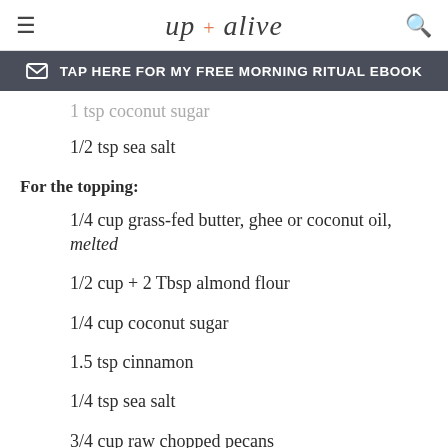up + alive
TAP HERE FOR MY FREE MORNING RITUAL EBOOK
1 tsp coconut sugar
1/2 tsp sea salt
For the topping:
1/4 cup grass-fed butter, ghee or coconut oil, melted
1/2 cup + 2 Tbsp almond flour
1/4 cup coconut sugar
1.5 tsp cinnamon
1/4 tsp sea salt
3/4 cup raw chopped pecans
INSTRUCTIONS
Grease a 9x13 baking pan and set aside. Preheat